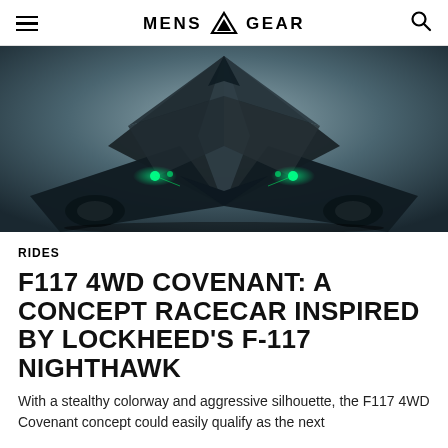MENS GEAR
[Figure (photo): Close-up front view of the F117 4WD Covenant concept racecar with dark angular stealth-inspired bodywork, glowing green accent lights, and dramatic geometric forms against a grey background.]
RIDES
F117 4WD COVENANT: A CONCEPT RACECAR INSPIRED BY LOCKHEED'S F-117 NIGHTHAWK
With a stealthy colorway and aggressive silhouette, the F117 4WD Covenant concept could easily qualify as the next